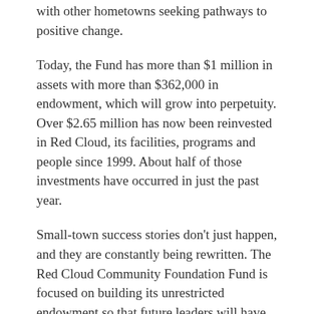with other hometowns seeking pathways to positive change.
Today, the Fund has more than $1 million in assets with more than $362,000 in endowment, which will grow into perpetuity. Over $2.65 million has now been reinvested in Red Cloud, its facilities, programs and people since 1999. About half of those investments have occurred in just the past year.
Small-town success stories don't just happen, and they are constantly being rewritten. The Red Cloud Community Foundation Fund is focused on building its unrestricted endowment so that future leaders will have the resources and the flexibility to invest in opportunities we cannot even imagine today.